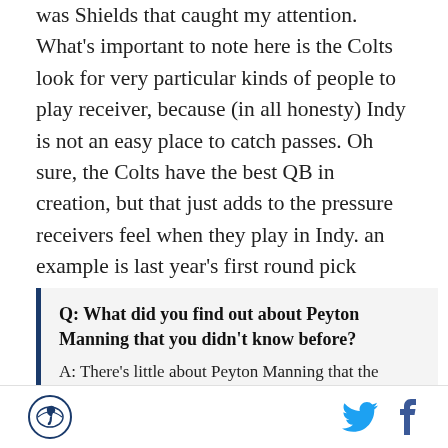was Shields that caught my attention. What's important to note here is the Colts look for very particular kinds of people to play receiver, because (in all honesty) Indy is not an easy place to catch passes. Oh sure, the Colts have the best QB in creation, but that just adds to the pressure receivers feel when they play in Indy. an example is last year's first round pick Anthony Gonzalez. Gonzo was interviewed recently and here's what he said about Peyton Manning last season:
Q: What did you find out about Peyton Manning that you didn't know before?
A: There's little about Peyton Manning that the general public doesn't know. But I will say, he's got a
[logo] [twitter] [facebook]